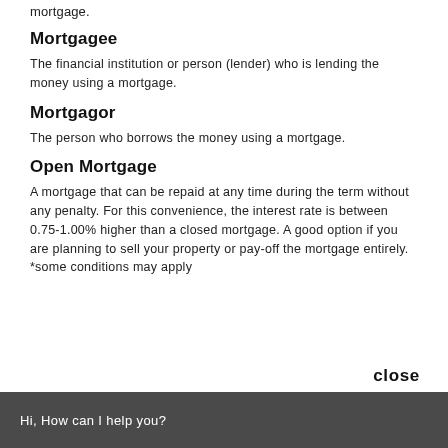mortgage.
Mortgagee
The financial institution or person (lender) who is lending the money using a mortgage.
Mortgagor
The person who borrows the money using a mortgage.
Open Mortgage
A mortgage that can be repaid at any time during the term without any penalty. For this convenience, the interest rate is between 0.75-1.00% higher than a closed mortgage. A good option if you are planning to sell your property or pay-off the mortgage entirely. *some conditions may apply
close
Hi, How can I help you?